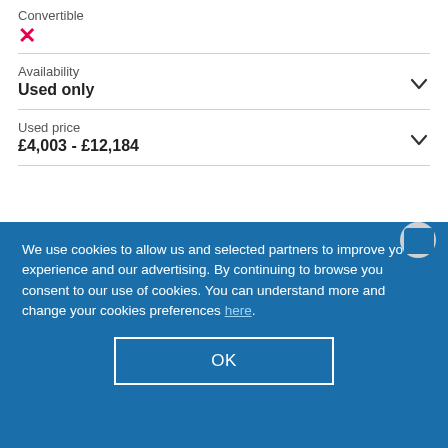Convertible
✗
Availability
Used only
Used price
£4,003 - £12,184
Fuel type
We use cookies to allow us and selected partners to improve your experience and our advertising. By continuing to browse you consent to our use of cookies. You can understand more and change your cookies preferences here.
OK